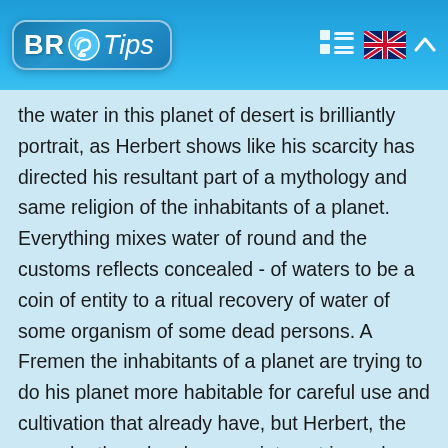BR Tips
the water in this planet of desert is brilliantly portrait, as Herbert shows like his scarcity has directed his resultant part of a mythology and same religion of the inhabitants of a planet. Everything mixes water of round and the customs reflects concealed - of waters to be a coin of entity to a ritual recovery of water of some organism of some dead persons. A Fremen the inhabitants of a planet are trying to do his planet more habitable for careful use and cultivation that already have, but Herbert, the one who there has been an interest in ecology in his real life, shows like this changing an appearance of a half has to that be